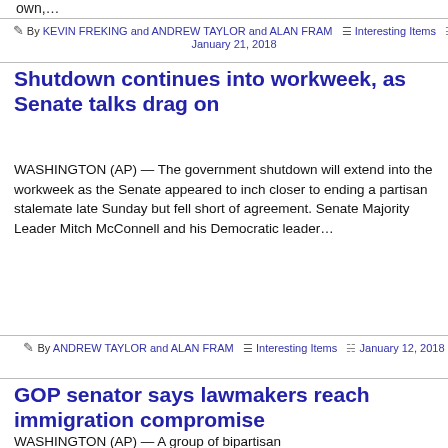own,…
By KEVIN FREKING and ANDREW TAYLOR and ALAN FRAM  ≡ Interesting Items  ⊞ January 21, 2018
Shutdown continues into workweek, as Senate talks drag on
WASHINGTON (AP) — The government shutdown will extend into the workweek as the Senate appeared to inch closer to ending a partisan stalemate late Sunday but fell short of agreement. Senate Majority Leader Mitch McConnell and his Democratic leader…
By ANDREW TAYLOR and ALAN FRAM  ≡ Interesting Items  ⊞ January 12, 2018
GOP senator says lawmakers reach immigration compromise
WASHINGTON (AP) — A group of bipartisan senators reached a bipartisan immigration…